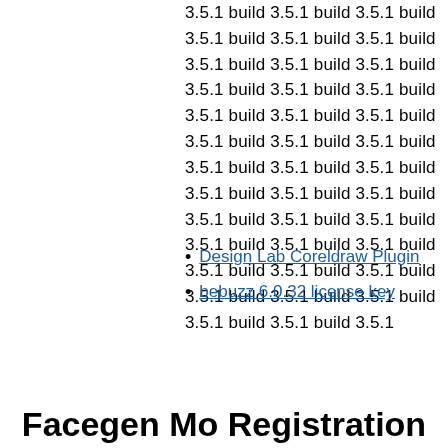3.5.1 build 3.5.1 build 3.5.1 build 3.5.1 build 3.5.1 build 3.5.1 build 3.5.1 build 3.5.1 build 3.5.1 build 3.5.1 build 3.5.1 build 3.5.1 build 3.5.1 build 3.5.1 build 3.5.1 build 3.5.1 build 3.5.1 build 3.5.1 build 3.5.1 build 3.5.1 build 3.5.1 build 3.5.1 build 3.5.1 build 3.5.1 build 3.5.1 build 3.5.1 build 3.5.1 build 3.5.1 build 3.5.1 build 3.5.1 build 3.5.1 build 3.5.1 build 3.5.1 build 3.5.1 build 3.5.1 build 3.5.1 build 3.5.1 build 3.5.1 build 3.5.1 build 3.5.1 build 3.5.1 build 3.5.1 build 3.5.1
Design Lab Coreldraw Plugin
bebuzz 6.0.32 license key
Facegen Mo Registration